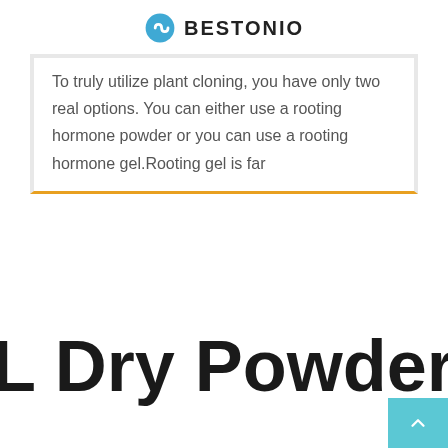BESTONIO
To truly utilize plant cloning, you have only two real options. You can either use a rooting hormone powder or you can use a rooting hormone gel.Rooting gel is far
L Dry Powder Roo